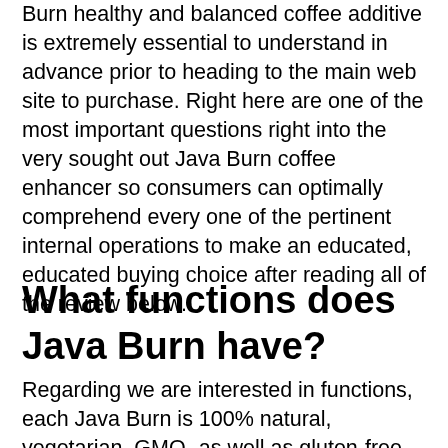Burn healthy and balanced coffee additive is extremely essential to understand in advance prior to heading to the main web site to purchase. Right here are one of the most important questions right into the very sought out Java Burn coffee enhancer so consumers can optimally comprehend every one of the pertinent internal operations to make an educated, educated buying choice after reading all of the review below.
What functions does Java Burn have?
Regarding we are interested in functions, each Java Burn is 100% natural, vegetarian, GMO- as well as gluten-free as well as is